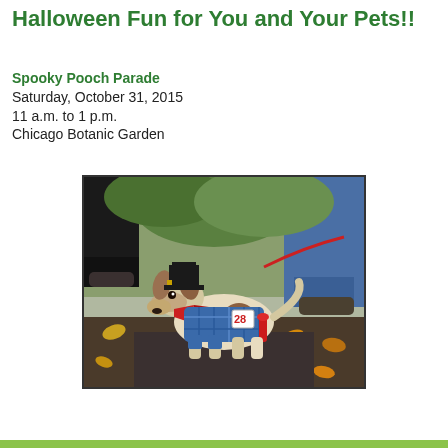Halloween Fun for You and Your Pets!!
Spooky Pooch Parade
Saturday, October 31, 2015
11 a.m. to 1 p.m.
Chicago Botanic Garden
[Figure (photo): A dog dressed in a Halloween costume consisting of a plaid blue jacket, a small black top hat, and a red neckerchief, standing on a brick path surrounded by fallen autumn leaves. The dog wears a competition number 28 badge. People's legs and shoes are visible in the background along with green foliage.]